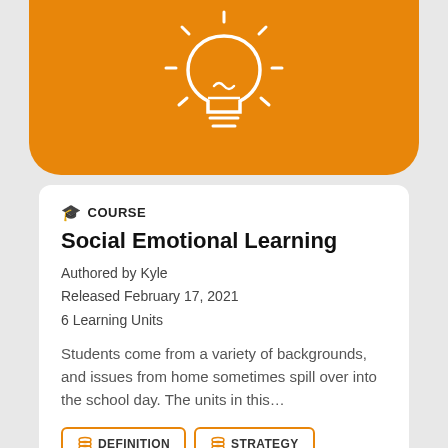[Figure (illustration): Orange rounded banner with white lightbulb icon with rays at the top]
COURSE
Social Emotional Learning
Authored by Kyle
Released February 17, 2021
6 Learning Units
Students come from a variety of backgrounds, and issues from home sometimes spill over into the school day. The units in this…
DEFINITION
STRATEGY
SOCIAL AND EMOTIONAL LEARNING
WELLNESS